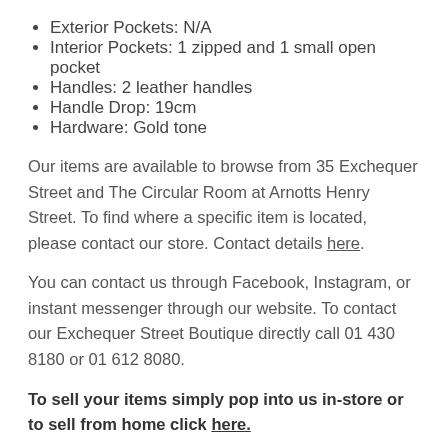Exterior Pockets: N/A
Interior Pockets: 1 zipped and 1 small open pocket
Handles: 2 leather handles
Handle Drop: 19cm
Hardware: Gold tone
Our items are available to browse from 35 Exchequer Street and The Circular Room at Arnotts Henry Street. To find where a specific item is located, please contact our store. Contact details here.
You can contact us through Facebook, Instagram, or instant messenger through our website. To contact our Exchequer Street Boutique directly call 01 430 8180 or 01 612 8080.
To sell your items simply pop into us in-store or to sell from home click here.
We also offer a free Rem...